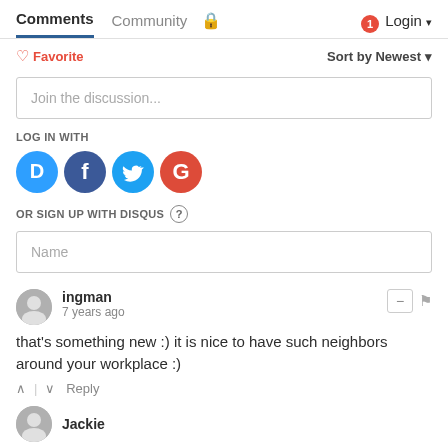Comments  Community  🔒  1  Login
♡ Favorite   Sort by Newest
Join the discussion...
LOG IN WITH
[Figure (logo): Social login icons: Disqus (blue), Facebook (dark blue), Twitter (cyan), Google (red)]
OR SIGN UP WITH DISQUS ?
Name
ingman
7 years ago
that's something new :) it is nice to have such neighbors around your workplace :)
↑ | ↓  Reply
Jackie